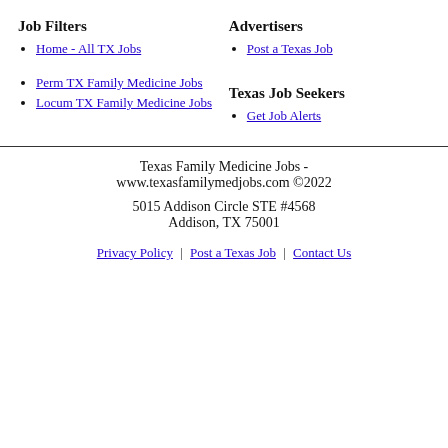Job Filters
Home - All TX Jobs
Perm TX Family Medicine Jobs
Locum TX Family Medicine Jobs
Advertisers
Post a Texas Job
Texas Job Seekers
Get Job Alerts
Texas Family Medicine Jobs - www.texasfamilymedjobs.com ©2022
5015 Addison Circle STE #4568
Addison, TX 75001
Privacy Policy | Post a Texas Job | Contact Us